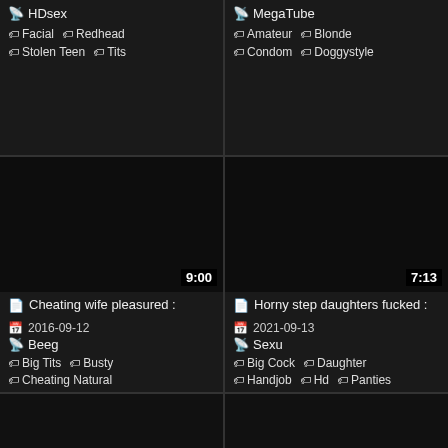HDsex | Facial | Redhead | Stolen Teen | Tits
MegaTube | Amateur | Blonde | Condom | Doggystyle
[Figure (screenshot): Dark video thumbnail placeholder with duration 9:00, title: Cheating wife pleasured, date: 2016-09-12, source: Beeg, tags: Big Tits, Busty, Cheating Natural]
[Figure (screenshot): Dark video thumbnail placeholder with duration 7:13, title: Horny step daughters fucked, date: 2021-09-13, source: Sexu, tags: Big Cock, Daughter, Handjob, Hd, Panties]
[Figure (screenshot): Dark video thumbnail placeholder, bottom row left]
[Figure (screenshot): Dark video thumbnail placeholder, bottom row right]